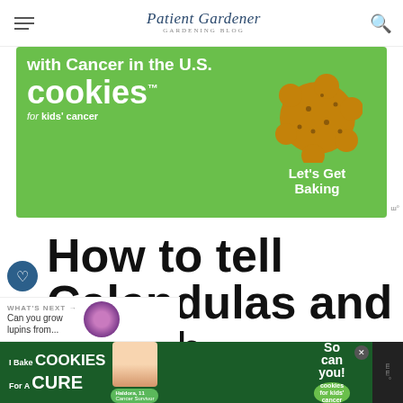Patient Gardener - Gardening Blog
[Figure (photo): Advertisement banner: 'with Cancer in the U.S. cookies for kids' cancer - Let's Get Baking' on green background with cookie image]
How to tell Calendulas and French Marigolds apart
WHAT'S NEXT → Can you grow lupins from...
[Figure (photo): Bottom advertisement: 'I Bake COOKIES For A CURE - Haldora, 11 Cancer Survivor - So can you! cookies for kids cancer']